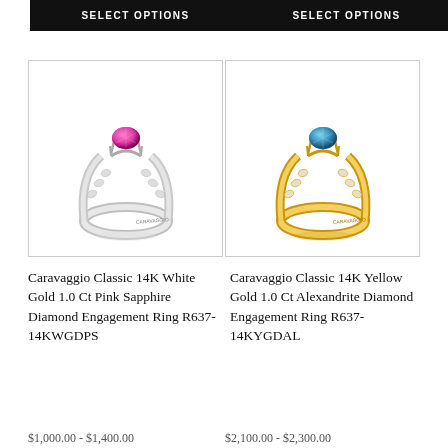[Figure (screenshot): Black 'SELECT OPTIONS' button for left product]
[Figure (screenshot): Black 'SELECT OPTIONS' button for right product]
[Figure (photo): Caravaggio Classic 14K White Gold ring with pink sapphire center stone and diamond accents on white band]
[Figure (photo): Caravaggio Classic 14K Yellow Gold ring with alexandrite center stone and diamond accents on yellow gold band]
Caravaggio Classic 14K White Gold 1.0 Ct Pink Sapphire Diamond Engagement Ring R637-14KWGDPS
Caravaggio Classic 14K Yellow Gold 1.0 Ct Alexandrite Diamond Engagement Ring R637-14KYGDAL
$1,000.00 - $1,400.00
$2,100.00 - $2,300.00